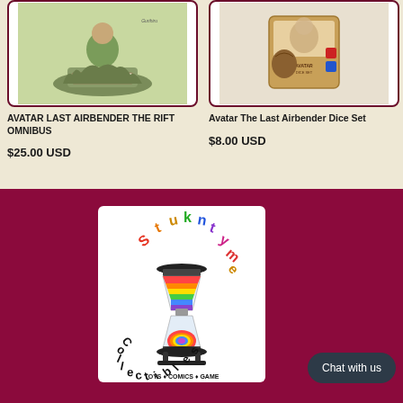[Figure (illustration): Comic book cover image for Avatar Last Airbender The Rift Omnibus - shows cartoon character on a rock with text THE RIFT]
AVATAR LAST AIRBENDER THE RIFT OMNIBUS
$25.00 USD
[Figure (photo): Product photo of Avatar The Last Airbender Dice Set box]
Avatar The Last Airbender Dice Set
$8.00 USD
[Figure (logo): Stukntyme Collectibles logo - colorful text around an hourglass with rainbow colors, tagline TOYS COMICS GAMES]
Chat with us